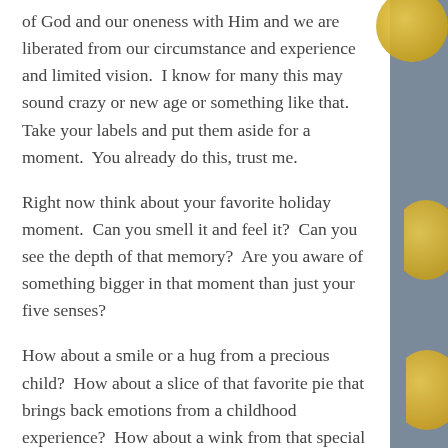of God and our oneness with Him and we are liberated from our circumstance and experience and limited vision.  I know for many this may sound crazy or new age or something like that.  Take your labels and put them aside for a moment.  You already do this, trust me.
Right now think about your favorite holiday moment.  Can you smell it and feel it?  Can you see the depth of that memory?  Are you aware of something bigger in that moment than just your five senses?
How about a smile or a hug from a precious child?  How about a slice of that favorite pie that brings back emotions from a childhood experience?  How about a wink from that special person?  How about the beauty of the sunset over the mountains or the